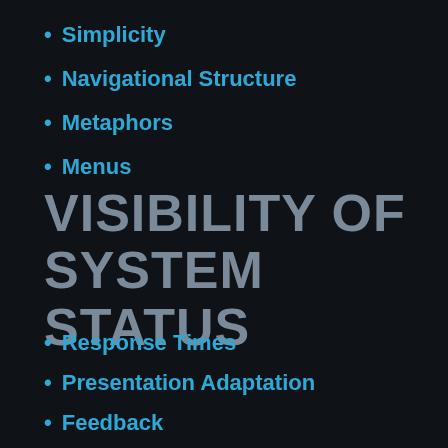Simplicity
Navigational Structure
Metaphors
Menus
VISIBILITY OF SYSTEM STATUS
Response Times
Presentation Adaptation
Feedback
Location Information
Selection / Input of Data